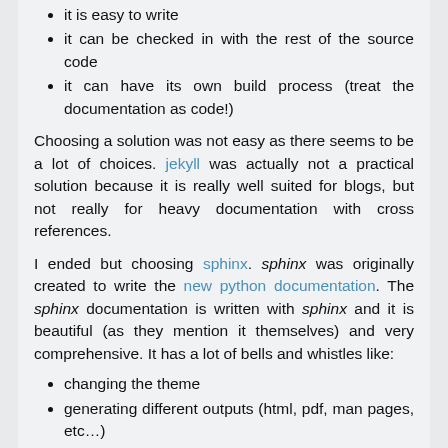it is easy to write
it can be checked in with the rest of the source code
it can have its own build process (treat the documentation as code!)
Choosing a solution was not easy as there seems to be a lot of choices. jekyll was actually not a practical solution because it is really well suited for blogs, but not really for heavy documentation with cross references.
I ended but choosing sphinx. sphinx was originally created to write the new python documentation. The sphinx documentation is written with sphinx and it is beautiful (as they mention it themselves) and very comprehensive. It has a lot of bells and whistles like:
changing the theme
generating different outputs (html, pdf, man pages, etc...)
setting up the project for you (it are...